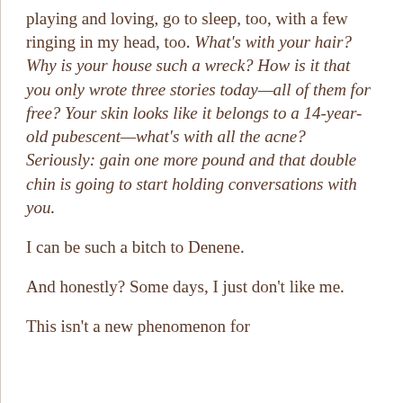playing and loving, go to sleep, too, with a few ringing in my head, too. What's with your hair? Why is your house such a wreck? How is it that you only wrote three stories today—all of them for free? Your skin looks like it belongs to a 14-year-old pubescent—what's with all the acne? Seriously: gain one more pound and that double chin is going to start holding conversations with you.
I can be such a bitch to Denene.
And honestly? Some days, I just don't like me.
This isn't a new phenomenon for